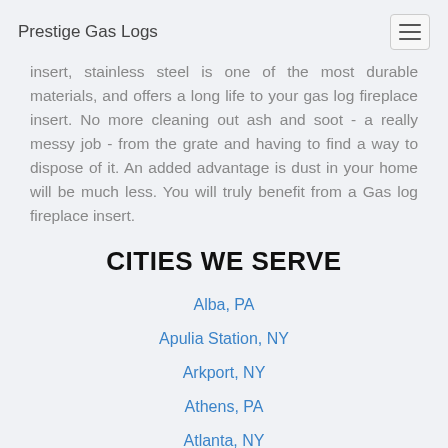Prestige Gas Logs
insert, stainless steel is one of the most durable materials, and offers a long life to your gas log fireplace insert. No more cleaning out ash and soot - a really messy job - from the grate and having to find a way to dispose of it. An added advantage is dust in your home will be much less. You will truly benefit from a Gas log fireplace insert.
CITIES WE SERVE
Alba, PA
Apulia Station, NY
Arkport, NY
Athens, PA
Atlanta, NY